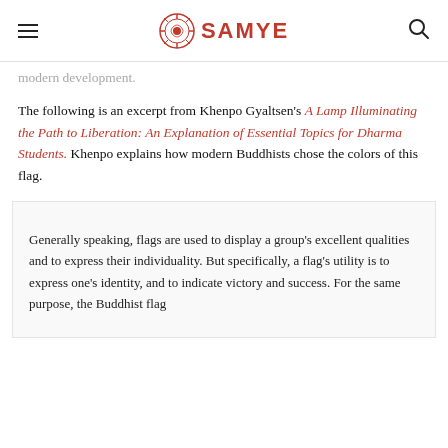SAMYE
modern development.
The following is an excerpt from Khenpo Gyaltsen's A Lamp Illuminating the Path to Liberation: An Explanation of Essential Topics for Dharma Students. Khenpo explains how modern Buddhists chose the colors of this flag.
Generally speaking, flags are used to display a group's excellent qualities and to express their individuality. But specifically, a flag's utility is to express one's identity, and to indicate victory and success. For the same purpose, the Buddhist flag